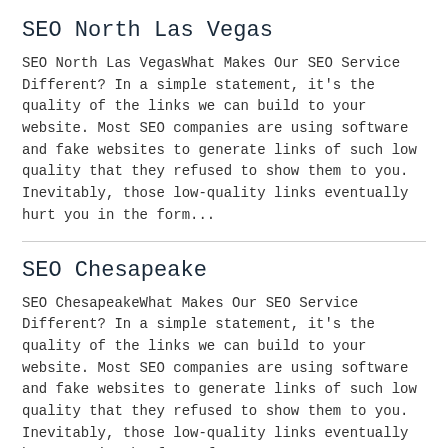SEO North Las Vegas
SEO North Las VegasWhat Makes Our SEO Service Different? In a simple statement, it's the quality of the links we can build to your website. Most SEO companies are using software and fake websites to generate links of such low quality that they refused to show them to you. Inevitably, those low-quality links eventually hurt you in the form...
SEO Chesapeake
SEO ChesapeakeWhat Makes Our SEO Service Different? In a simple statement, it's the quality of the links we can build to your website. Most SEO companies are using software and fake websites to generate links of such low quality that they refused to show them to you. Inevitably, those low-quality links eventually hurt you in the form of a...
SEO Irving